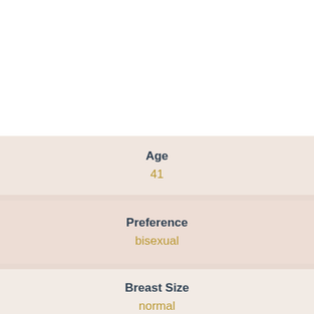Age
41
Preference
bisexual
Breast Size
normal